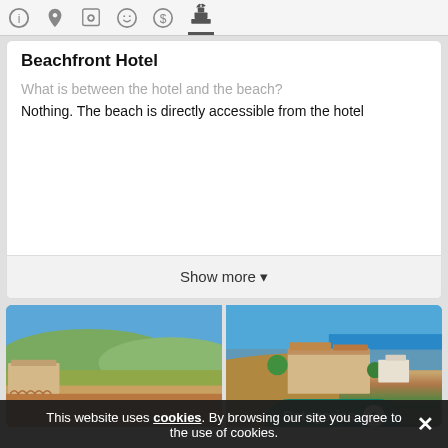[Figure (screenshot): Navigation icon bar with info, location, camera, emoji, dollar sign, and beach/hotel icons]
Beachfront Hotel
What is between the hotel and the beach?
Nothing. The beach is directly accessible from the hotel
Show more ▾
[Figure (photo): Two aerial photos of a beachfront hotel resort with green hills and ocean views]
Categories 1
This website uses cookies. By browsing our site you agree to the use of cookies.